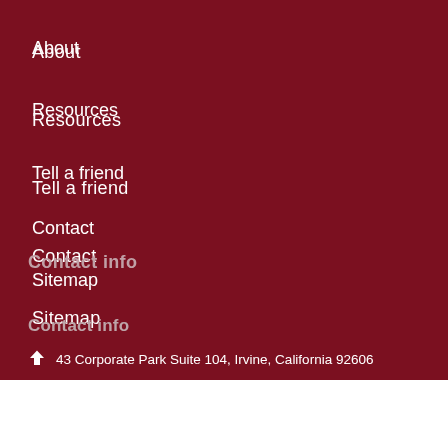About
Resources
Tell a friend
Contact
Sitemap
Contact info
43 Corporate Park Suite 104, Irvine, California 92606
949.251.3544
jack.brkich@ceteraadvisors.com
Contact us
Check the background of this investment professional on FINRA's BrokerCheck »